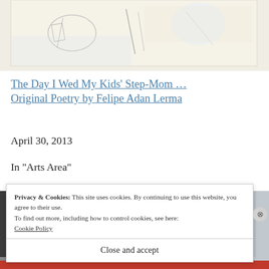[Figure (illustration): Partial view of an illustration with light watercolor tones, showing sketched figures and abstract shapes on a white/cream background. Bottom portion of an artwork piece.]
The Day I Wed My Kids' Step-Mom … Original Poetry by Felipe Adan Lerma
April 30, 2013
In "Arts Area"
[Figure (photo): Partial view of a black and white photograph, appears to show angled architectural or mechanical elements.]
Privacy & Cookies: This site uses cookies. By continuing to use this website, you agree to their use.
To find out more, including how to control cookies, see here:
Cookie Policy
Close and accept